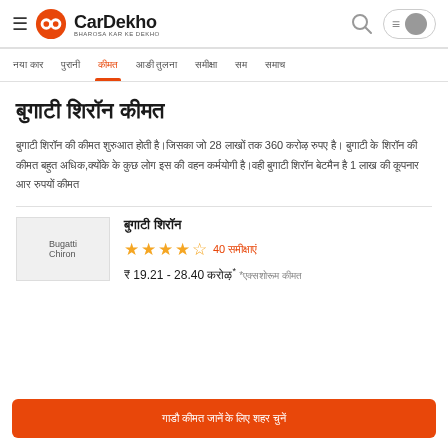CarDekho - BHAROSA KAR KE DEKHO
Nav: [Hindi nav items] | [active: Hindi item 3] | [more nav items]
बुगाटी शिरॉन कीमत
बुगाटी शिरॉन की कीमत शुरुआत होती है.जिसका जो 28 लाखों तक 360 करोड़ रुपए है. बुगाटी के शिरॉन की कीमत बहुत अधिक,क्योंकि के कुछ लोग इस की वहन कर्मयोगी है.वही बुगाटी शिरॉन बेटमैन है 1 लाख की कूपनार और रुपयों कीमत
बुगाटी शिरॉन
40 समीक्षाएं
₹ 19.21 - 28.40 करोड़* *एक्सशोरूम कीमत
गाड़ी कीमत जानें के लिए शहर चुनें